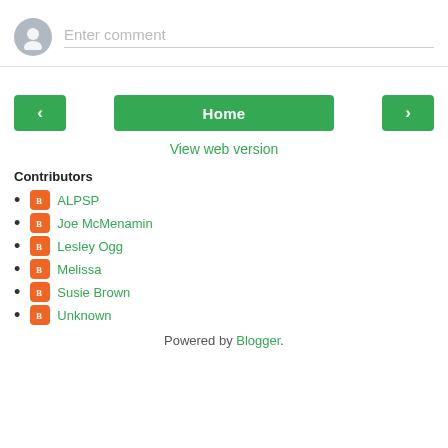Enter comment
[Figure (screenshot): Navigation buttons: left arrow, Home, right arrow]
View web version
Contributors
ALPSP
Joe McMenamin
Lesley Ogg
Melissa
Susie Brown
Unknown
Powered by Blogger.